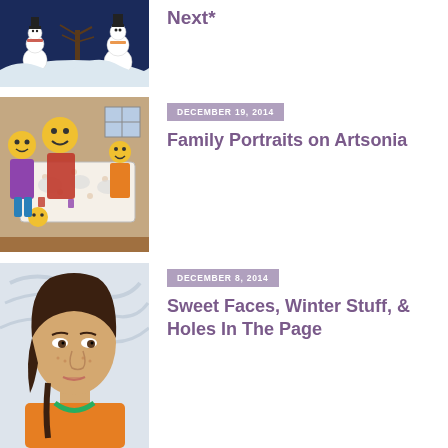[Figure (illustration): Children's drawing of a winter scene with snowmen and snow-covered landscape, partially cropped at top]
Next*
[Figure (illustration): Children's drawing of family at a dinner table with yellow-faced figures]
DECEMBER 19, 2014
Family Portraits on Artsonia
[Figure (illustration): Children's colored-pencil portrait drawing of a girl with dark hair wearing an orange shirt]
DECEMBER 8, 2014
Sweet Faces, Winter Stuff, & Holes In The Page